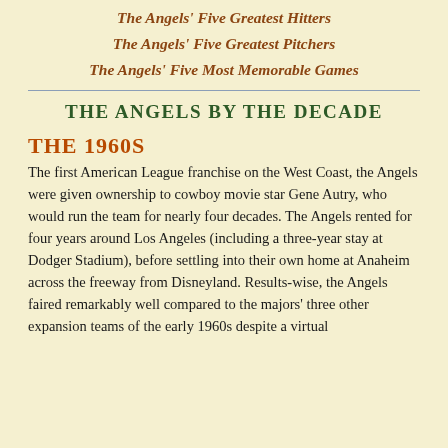The Angels' Five Greatest Hitters
The Angels' Five Greatest Pitchers
The Angels' Five Most Memorable Games
THE ANGELS BY THE DECADE
THE 1960S
The first American League franchise on the West Coast, the Angels were given ownership to cowboy movie star Gene Autry, who would run the team for nearly four decades. The Angels rented for four years around Los Angeles (including a three-year stay at Dodger Stadium), before settling into their own home at Anaheim across the freeway from Disneyland. Results-wise, the Angels faired remarkably well compared to the majors' three other expansion teams of the early 1960s despite a virtual